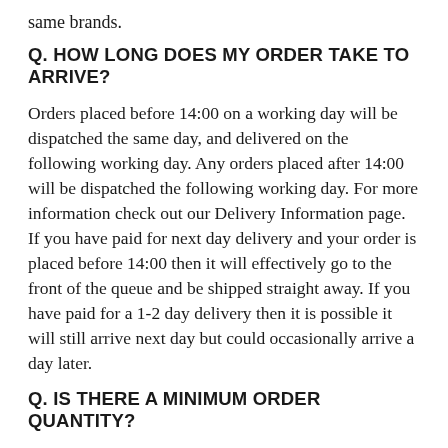same brands.
Q. HOW LONG DOES MY ORDER TAKE TO ARRIVE?
Orders placed before 14:00 on a working day will be dispatched the same day, and delivered on the following working day. Any orders placed after 14:00 will be dispatched the following working day. For more information check out our Delivery Information page. If you have paid for next day delivery and your order is placed before 14:00 then it will effectively go to the front of the queue and be shipped straight away. If you have paid for a 1-2 day delivery then it is possible it will still arrive next day but could occasionally arrive a day later.
Q. IS THERE A MINIMUM ORDER QUANTITY?